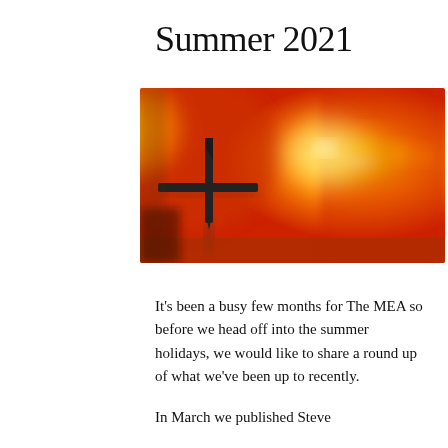Summer 2021
[Figure (photo): Blurred sunset/sunrise photo with orange and yellow gradient sky, silhouette of what appears to be a plane or cross shape in the lower left, with bright light effects across the image]
It's been a busy few months for The MEA so before we head off into the summer holidays, we would like to share a round up of what we've been up to recently.
In March we published Steve